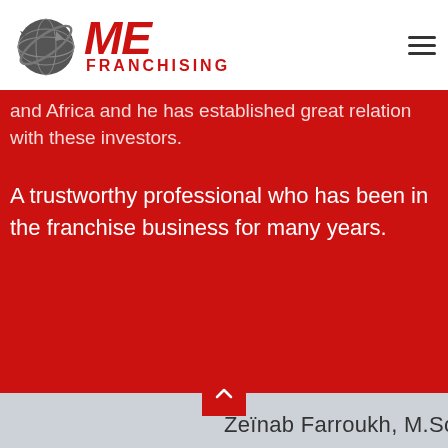[Figure (logo): ME Franchising logo with globe icon, red bold italic ME text, and FRANCHISING text below]
and Africa and he has established great relation with these investors.
A trustworthy professional who has been in the franchise business for many years.
Zeïnab Farroukh, M.Sc.